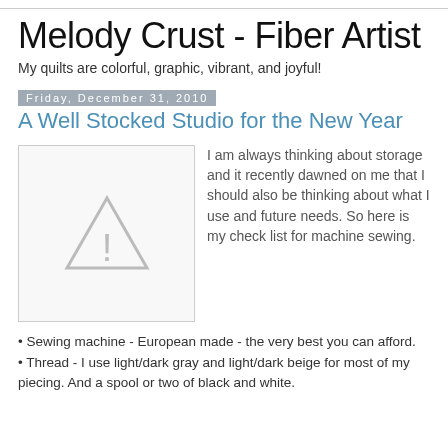Melody Crust - Fiber Artist
My quilts are colorful, graphic, vibrant, and joyful!
Friday, December 31, 2010
A Well Stocked Studio for the New Year
[Figure (illustration): Image placeholder with warning/exclamation triangle icon in gray]
I am always thinking about storage and it recently dawned on me that I should also be thinking about what I use and future needs. So here is my check list for machine sewing.
Sewing machine - European made - the very best you can afford.
Thread - I use light/dark gray and light/dark beige for most of my piecing. And a spool or two of black and white.